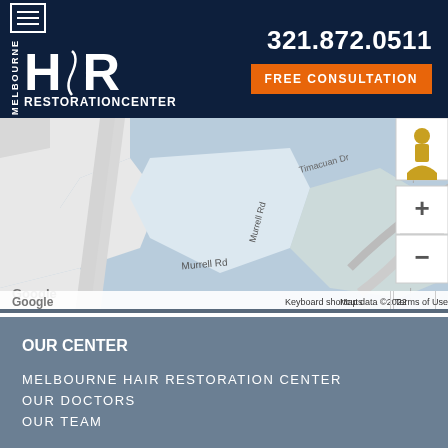[Figure (logo): Melbourne Hair Restoration Center logo with HAR text large, Melbourne vertical text, and Restoration Center below. White text on dark navy background.]
321.872.0511
FREE CONSULTATION
[Figure (map): Google Maps view showing roads including Murrell Rd and Timacuan Dr, water/blue areas, with map controls including street view person icon and zoom in/out buttons. Bottom bar shows: Keyboard shortcuts, Map data ©2022, Terms of Use. Google label bottom left.]
OUR CENTER
MELBOURNE HAIR RESTORATION CENTER
OUR DOCTORS
OUR TEAM